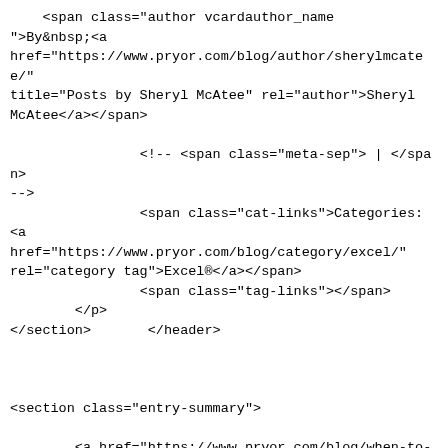<span class="author vcardauthor_name">By&nbsp;<a href="https://www.pryor.com/blog/author/sherylmcatee/" title="Posts by Sheryl McAtee" rel="author">Sheryl McAtee</a></span>

                <!-- <span class="meta-sep"> | </span>
-->
                <span class="cat-links">Categories: <a href="https://www.pryor.com/blog/category/excel/" rel="category tag">Excel®</a></span>
                <span class="tag-links"></span>
        </p>
</section>       </header>



<section class="entry-summary">

        <a href="https://www.pryor.com/blog/when-to-use-microsoft-excel-for-text-products/" class="entry-image">
                <div class='image-container pos-50'>
                <img src="https://pryormediacdn.azureedge.net/wordpress/2020/12/when-to-use-microsoft-excel-for-text-products.jpg" alt="When to Use Microsoft® Excel® for Text Products thumbnail" />              </div>
        </a>